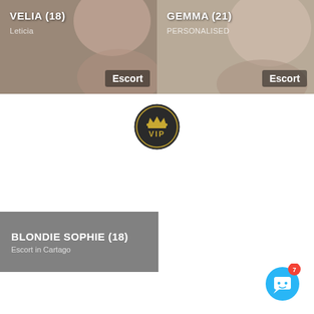[Figure (screenshot): Profile card for VELIA (18), subtitle Leticia, with Escort badge, photo background]
[Figure (screenshot): Profile card for GEMMA (21), subtitle PERSONALISED, with Escort badge, photo background]
[Figure (logo): VIP badge circle with crown icon and VIP text]
[Figure (screenshot): Profile card for BLONDIE SOPHIE (18), subtitle Escort in Cartago, semi-transparent dark overlay]
[Figure (illustration): Chat bot button with notification badge showing 7]